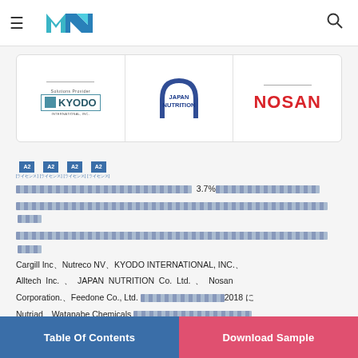Navigation bar with hamburger menu, logo, and search icon
[Figure (logo): Three company logos in a white panel: KYODO INTERNATIONAL INC., JAPAN NUTRITION, NOSAN]
A2 A2 A2 A2
Japanese text describing market content with 3.7% mention and companies: Cargill Inc, Nutreco NV, KYODO INTERNATIONAL, INC., Alltech Inc., JAPAN NUTRITION Co. Ltd., Nosan Corporation., Feedone Co., Ltd. 2018, Nutriad, Watanabe Chemicals
Table Of Contents | Download Sample